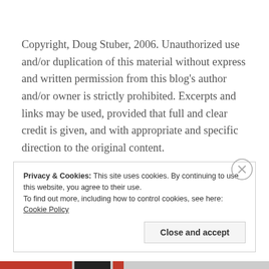Copyright, Doug Stuber, 2006. Unauthorized use and/or duplication of this material without express and written permission from this blog's author and/or owner is strictly prohibited. Excerpts and links may be used, provided that full and clear credit is given, and with appropriate and specific direction to the original content.
Privacy & Cookies: This site uses cookies. By continuing to use this website, you agree to their use.
To find out more, including how to control cookies, see here: Cookie Policy

Close and accept